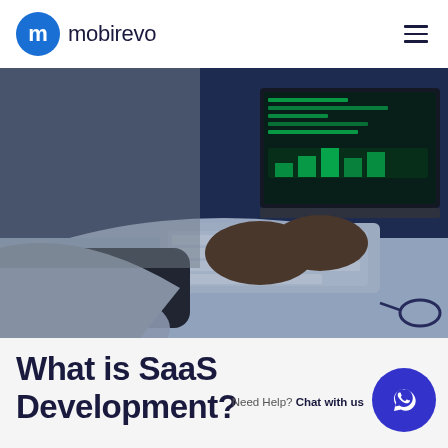mobirevo
[Figure (photo): Person in grey hoodie typing on a white keyboard with a MacBook laptop showing green code/charts in the background, a white Apple Magic Mouse on a black mouse pad, and glasses on the right side of the desk. Dark blue ambient lighting.]
What is SaaS Development?
Need Help? Chat with us